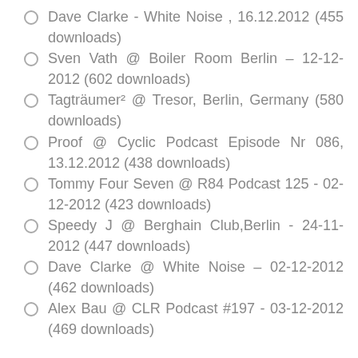Dave Clarke - White Noise , 16.12.2012 (455 downloads)
Sven Vath @ Boiler Room Berlin – 12-12-2012 (602 downloads)
Tagträumer² @ Tresor, Berlin, Germany (580 downloads)
Proof @ Cyclic Podcast Episode Nr 086, 13.12.2012 (438 downloads)
Tommy Four Seven @ R84 Podcast 125 - 02-12-2012 (423 downloads)
Speedy J @ Berghain Club,Berlin - 24-11-2012 (447 downloads)
Dave Clarke @ White Noise – 02-12-2012 (462 downloads)
Alex Bau @ CLR Podcast #197 - 03-12-2012 (469 downloads)